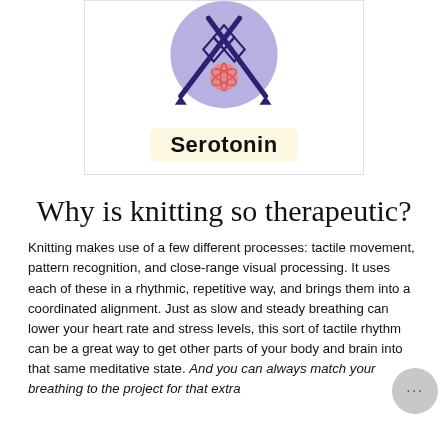[Figure (illustration): Illustration of knitting needles and a ball of yarn over a lavender circular background, with label 'Serotonin' in bold on a light yellow rounded badge below the circle, all inside a white bordered card.]
Why is knitting so therapeutic?
Knitting makes use of a few different processes: tactile movement, pattern recognition, and close-range visual processing. It uses each of these in a rhythmic, repetitive way, and brings them into a coordinated alignment. Just as slow and steady breathing can lower your heart rate and stress levels, this sort of tactile rhythm can be a great way to get other parts of your body and brain into that same meditative state. And you can always match your breathing to the project for that extra...